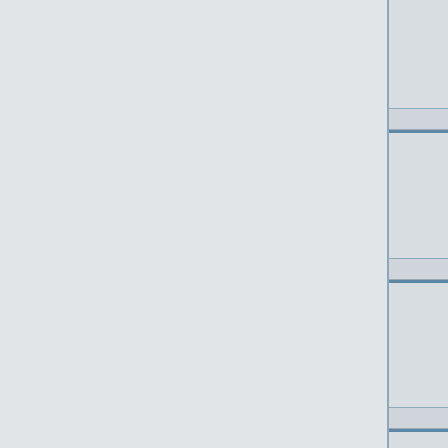| User | Message | Content (truncated) |
| --- | --- | --- |
| affeleDet
Gast | 17.10.2014 20:33 | h... w h h h h |
| affeleDet
Gast | 18.10.2014 01:09 | h... v h h h h |
| affeleDet
Gast | 18.10.2014 14:37 | h... o k h h h |
| affeleDet
Gast |  | h... ri h h h h |